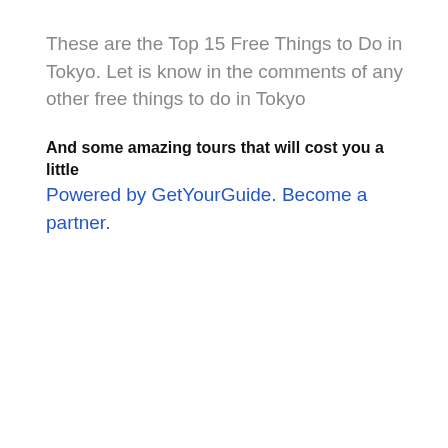These are the Top 15 Free Things to Do in Tokyo. Let is know in the comments of any other free things to do in Tokyo
And some amazing tours that will cost you a little Powered by GetYourGuide. Become a partner.